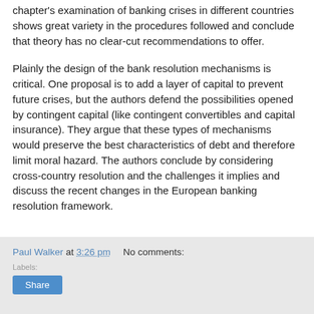chapter's examination of banking crises in different countries shows great variety in the procedures followed and conclude that theory has no clear-cut recommendations to offer.
Plainly the design of the bank resolution mechanisms is critical. One proposal is to add a layer of capital to prevent future crises, but the authors defend the possibilities opened by contingent capital (like contingent convertibles and capital insurance). They argue that these types of mechanisms would preserve the best characteristics of debt and therefore limit moral hazard. The authors conclude by considering cross-country resolution and the challenges it implies and discuss the recent changes in the European banking resolution framework.
Paul Walker at 3:26 pm   No comments:   Share